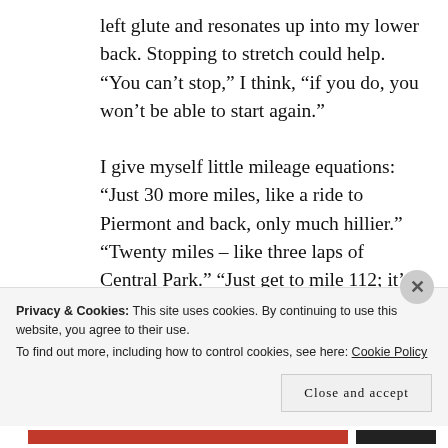left glute and resonates up into my lower back. Stopping to stretch could help.  “You can’t stop,” I think, “if you do, you won’t be able to start again.”
I give myself little mileage equations: “Just 30 more miles, like a ride to Piermont and back, only much hillier.”  “Twenty miles – like three laps of Central Park.” “Just get to mile 112; it’s all downhill
Privacy & Cookies: This site uses cookies. By continuing to use this website, you agree to their use.
To find out more, including how to control cookies, see here: Cookie Policy